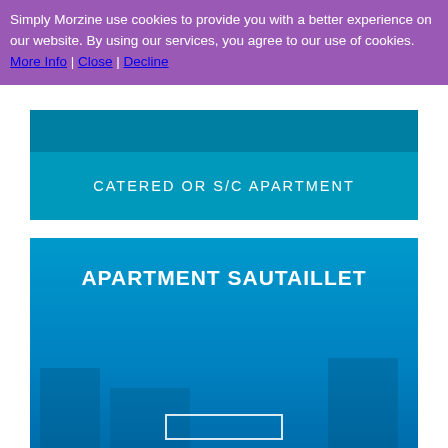Simply Morzine use cookies to provide you with a better experience on our website. By using our services, you agree to our use of cookies. More Info | Close | Decline
[Figure (screenshot): Teal/cyan banner card with text CATERED OR S/C APARTMENT]
[Figure (screenshot): Large teal/cyan card with bold white text APARTMENT SAUTAILLET and a partial white border box at the bottom]